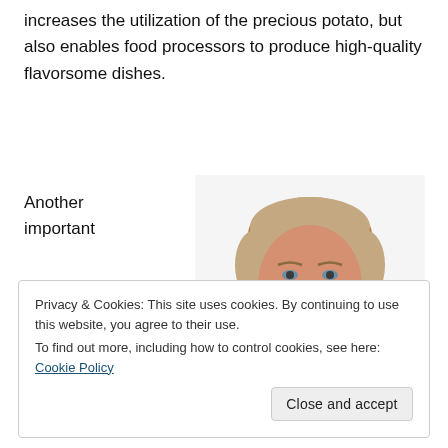increases the utilization of the precious potato, but also enables food processors to produce high-quality flavorsome dishes.
Another important
[Figure (photo): Headshot of a middle-aged man with short grey-blond hair, smiling, wearing a dark suit and white shirt, photographed against a white background.]
Privacy & Cookies: This site uses cookies. By continuing to use this website, you agree to their use.
To find out more, including how to control cookies, see here: Cookie Policy